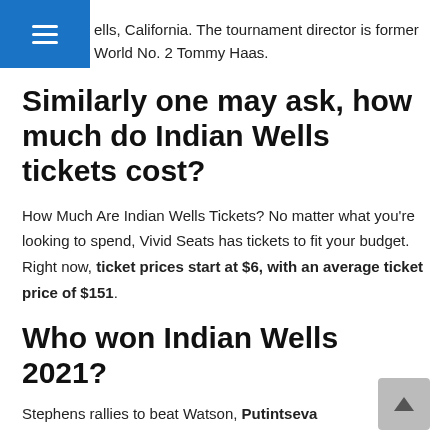ells, California. The tournament director is former World No. 2 Tommy Haas.
Similarly one may ask, how much do Indian Wells tickets cost?
How Much Are Indian Wells Tickets? No matter what you're looking to spend, Vivid Seats has tickets to fit your budget. Right now, ticket prices start at $6, with an average ticket price of $151.
Who won Indian Wells 2021?
Stephens rallies to beat Watson, Putintseva